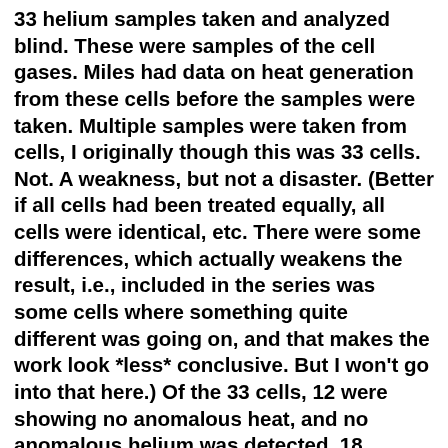33 helium samples taken and analyzed blind. These were samples of the cell gases. Miles had data on heat generation from these cells before the samples were taken. Multiple samples were taken from cells, I originally though this was 33 cells. Not. A weakness, but not a disaster. (Better if all cells had been treated equally, all cells were identical, etc. There were some differences, which actually weakens the result, i.e., included in the series was some cells where something quite different was going on, and that makes the work look *less* conclusive. But I won't go into that here.) Of the 33 cells, 12 were showing no anomalous heat, and no anomalous helium was detected. 18 showed heat, and, from them, helium was detected within an order of magnitude of the helium expected from d -> He-4. The more heat, the more helium, within experimental error. (The measurements were rough, unfortunately, only order-of-magnitude detection.) That leaves three cells. One experienced a power failure and deloading and calorimetry error was thus suspected, the other two were a cerium-palladium alloy. They showed heat, but no helium. What happened? We